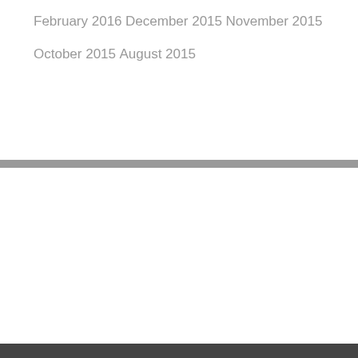February 2016
December 2015
November 2015
October 2015
August 2015